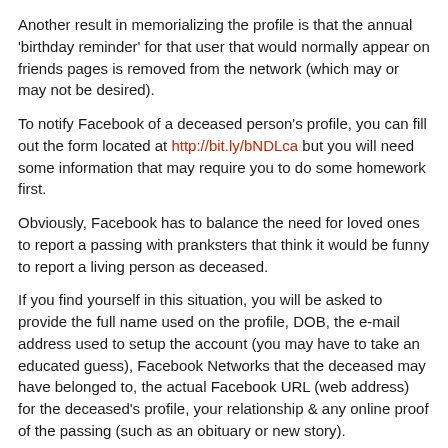Another result in memorializing the profile is that the annual 'birthday reminder' for that user that would normally appear on friends pages is removed from the network (which may or may not be desired).
To notify Facebook of a deceased person's profile, you can fill out the form located at http://bit.ly/bNDLca but you will need some information that may require you to do some homework first.
Obviously, Facebook has to balance the need for loved ones to report a passing with pranksters that think it would be funny to report a living person as deceased.
If you find yourself in this situation, you will be asked to provide the full name used on the profile, DOB, the e-mail address used to setup the account (you may have to take an educated guess), Facebook Networks that the deceased may have belonged to, the actual Facebook URL (web address) for the deceased's profile, your relationship & any online proof of the passing (such as an obituary or new story).
The less of this information you have, the less likely you will get Facebook to memorialize the account.
When a profile is memorialized, certain things are removed by Facebook at their discretion and the profile is locked down from any